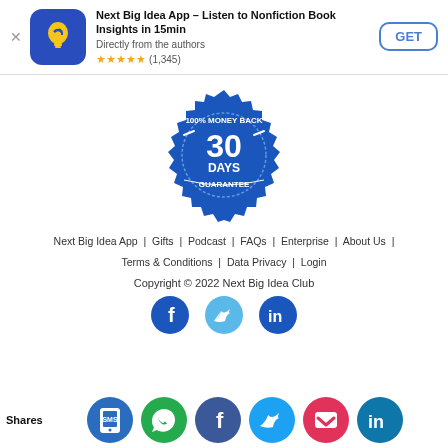[Figure (screenshot): App store banner for Next Big Idea App with icon, title, subtitle, star rating, and GET button]
[Figure (illustration): 100% Money Back 30 Days Guarantee blue badge/seal]
Next Big Idea App | Gifts | Podcast | FAQs | Enterprise | About Us | Terms & Conditions | Data Privacy | Login
Copyright © 2022 Next Big Idea Club
[Figure (illustration): Social media icons: Facebook, Twitter, LinkedIn]
Shares
[Figure (illustration): Share icons row: SMS/mobile, WhatsApp, Facebook, Twitter, Pocket, LinkedIn]